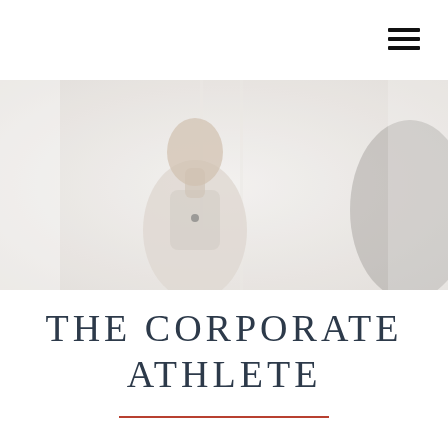[Figure (photo): A man in a light shirt standing in a bright, softly lit room. Another figure is partially visible on the right side, blurred. The background is white and washed out.]
THE CORPORATE ATHLETE